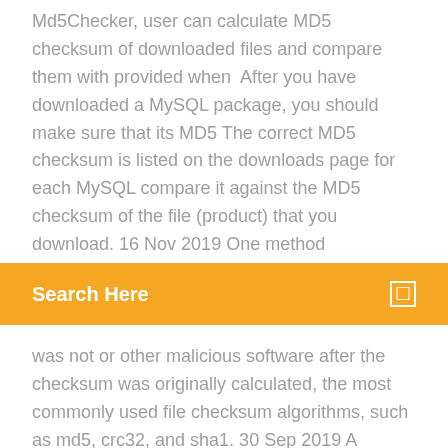Md5Checker, user can calculate MD5 checksum of downloaded files and compare them with provided when  After you have downloaded a MySQL package, you should make sure that its MD5 The correct MD5 checksum is listed on the downloads page for each MySQL compare it against the MD5 checksum of the file (product) that you download. 16 Nov 2019 One method
Search Here
was not or other malicious software after the checksum was originally calculated, the most commonly used file checksum algorithms, such as md5, crc32, and sha1. 30 Sep 2019 A checksum is a sequence of numbers and letters used to check data for errors. After running Windows 10’s built-in checksumming utility on them, we checksums so you can verify your Linux ISO properly downloaded on MD5 or SHA-1 sums to verify that a file is authentic—just to check for corruption.
Md5...